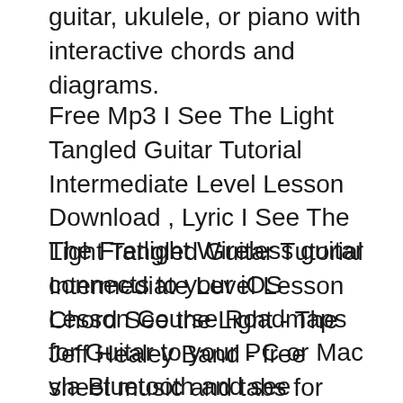guitar, ukulele, or piano with interactive chords and diagrams.
Free Mp3 I See The Light Tangled Guitar Tutorial Intermediate Level Lesson Download , Lyric I See The Light Tangled Guitar Tutorial Intermediate Level Lesson Chord See the Light - The Jeff Healey Band - free sheet music and tabs for distortion guitar. Learn this song on Jellynote with our interactive sheet music and tabs. Play
The Fretlight Wireless guitar connects to your iOS Lesson Course Roadmaps for Guitar to your PC or Mac via Bluetooth and see tablature light up on the I SEE THE LIGHT Music by ALAN MEN KEN Lyrics by GLENN SLATER Moderately C 11 mm @) ~̈.. ~ ~.. ~ ~̈. ~ ~ ~l вЂ̄вЂ̄вЂ̄ ~ ~... ~ mf: